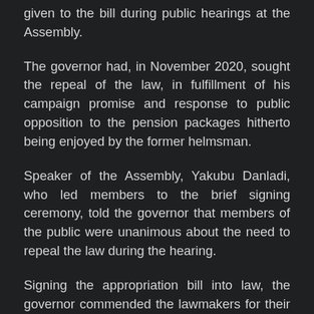given to the bill during public hearings at the Assembly.
The governor had, in November 2020, sought the repeal of the law, in fulfillment of his campaign promise and response to public opposition to the pension packages hitherto being enjoyed by the former helmsman.
Speaker of the Assembly, Yakubu Danladi, who led members to the brief signing ceremony, told the governor that members of the public were unanimous about the need to repeal the law during the hearing.
Signing the appropriation bill into law, the governor commended the lawmakers for their hard work, stressing that the budget would build on the achievements of previous years in the areas of education, health and road infrastructure.
“We are also focusing on youth empowerment, job creation and social investments, which are very critical at this point of our national life,” he said.